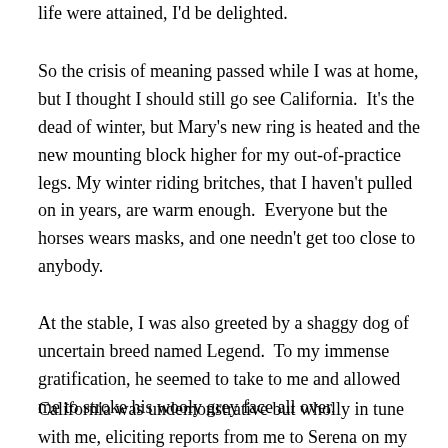life were attained, I'd be delighted.
So the crisis of meaning passed while I was at home, but I thought I should still go see California.  It's the dead of winter, but Mary's new ring is heated and the new mounting block higher for my out-of-practice legs. My winter riding britches, that I haven't pulled on in years, are warm enough.  Everyone but the horses wears masks, and one needn't get too close to anybody.
At the stable, I was also greeted by a shaggy dog of uncertain breed named Legend.  To my immense gratification, he seemed to take to me and allowed me to stroke his wooly grey face all over.
California was undemonstrative but wholly in tune with me, eliciting reports from me to Serena on my inward and outward states as we circled back and forth in